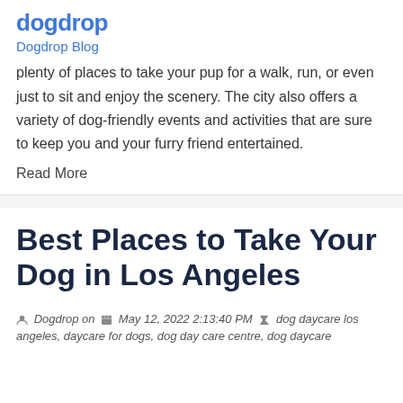dogdrop
Dogdrop Blog
plenty of places to take your pup for a walk, run, or even just to sit and enjoy the scenery. The city also offers a variety of dog-friendly events and activities that are sure to keep you and your furry friend entertained.
Read More
Best Places to Take Your Dog in Los Angeles
Dogdrop on  May 12, 2022 2:13:40 PM  dog daycare los angeles, daycare for dogs, dog day care centre, dog daycare